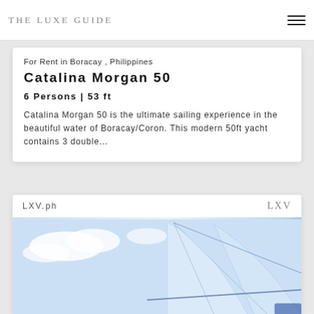The Luxe Guide
For Rent in Boracay , Philippines
Catalina Morgan 50
6 Persons | 53 ft
Catalina Morgan 50 is the ultimate sailing experience in the beautiful water of Boracay/Coron. This modern 50ft yacht contains 3 double...
LXV.ph
[Figure (photo): Photo of a sailing yacht with sails visible against a blue sky, taken from deck level showing rigging and sails.]